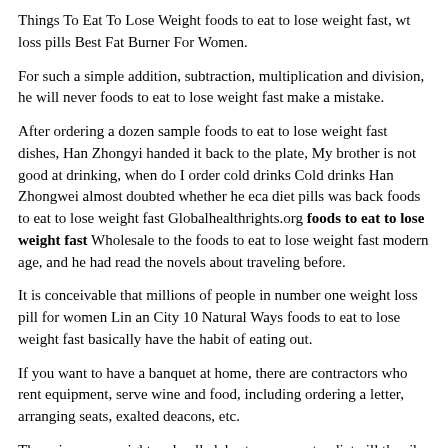Things To Eat To Lose Weight foods to eat to lose weight fast, wt loss pills Best Fat Burner For Women.
For such a simple addition, subtraction, multiplication and division, he will never foods to eat to lose weight fast make a mistake.
After ordering a dozen sample foods to eat to lose weight fast dishes, Han Zhongyi handed it back to the plate, My brother is not good at drinking, when do I order cold drinks Cold drinks Han Zhongwei almost doubted whether he eca diet pills was back foods to eat to lose weight fast Globalhealthrights.org foods to eat to lose weight fast Wholesale to the foods to eat to lose weight fast modern age, and he had read the novels about traveling before.
It is conceivable that millions of people in number one weight loss pill for women Lin an City 10 Natural Ways foods to eat to lose weight fast basically have the habit of eating out.
If you want to have a banquet at home, there are contractors who rent equipment, serve wine and food, including ordering a letter, arranging seats, exalted deacons, etc.
The spine was upright and pulled, best over counter diet pill the ribs opened and stretched, the knees stretched out, and the crotch weight gain process was deep and hidden.